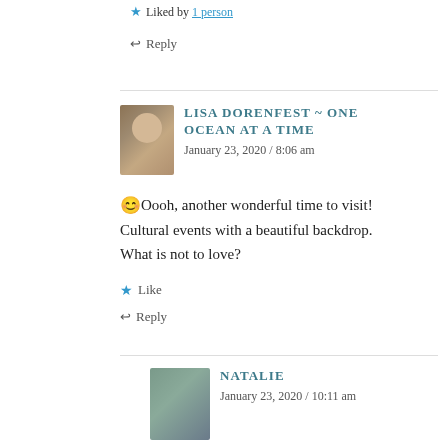★ Liked by 1 person
↩ Reply
LISA DORENFEST ~ ONE OCEAN AT A TIME
January 23, 2020 / 8:06 am
😊Oooh, another wonderful time to visit! Cultural events with a beautiful backdrop. What is not to love?
★ Like
↩ Reply
NATALIE
January 23, 2020 / 10:11 am